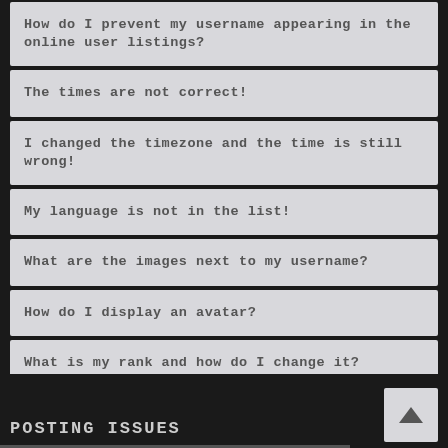How do I prevent my username appearing in the online user listings?
The times are not correct!
I changed the timezone and the time is still wrong!
My language is not in the list!
What are the images next to my username?
How do I display an avatar?
What is my rank and how do I change it?
When I click the email link for a user it asks me to login?
POSTING ISSUES